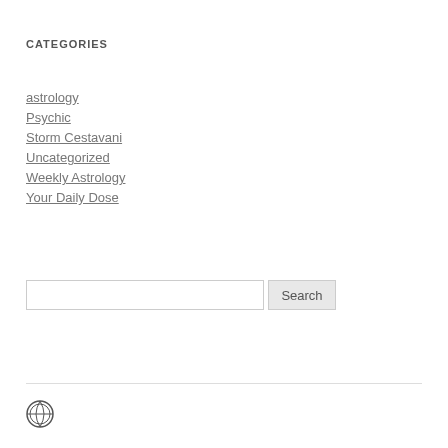CATEGORIES
astrology
Psychic
Storm Cestavani
Uncategorized
Weekly Astrology
Your Daily Dose
[Figure (other): Search bar with text input field and Search button]
[Figure (logo): WordPress logo icon]